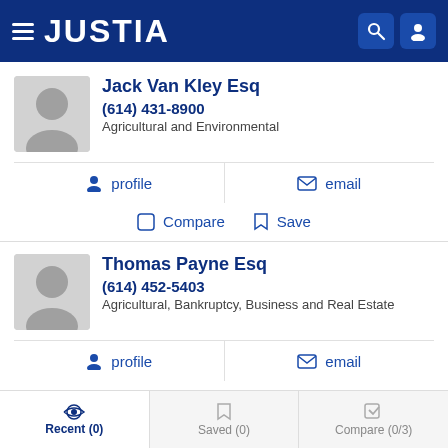JUSTIA
Jack Van Kley Esq
(614) 431-8900
Agricultural and Environmental
profile
email
Compare
Save
Thomas Payne Esq
(614) 452-5403
Agricultural, Bankruptcy, Business and Real Estate
profile
email
Recent (0)   Saved (0)   Compare (0/3)